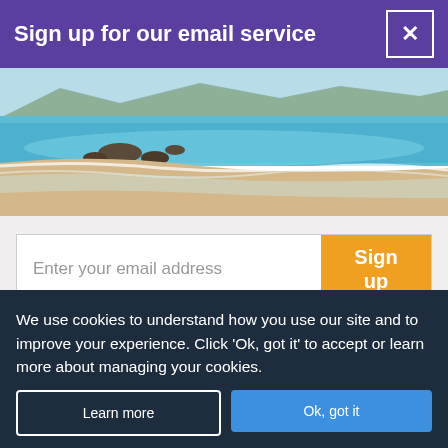Sign up for our email service
[Figure (photo): Beach scene with turquoise water, sandy shore, rocks, and mountains in the background]
Enter your email address
Sign up
By submitting this form, you are agreeing to receive marketing emails from Jet2holidays. You can unsubscribe at any time.
We process your data in accordance to our Privacy Policy.
We use cookies to understand how you use our site and to improve your experience. Click 'Ok, got it' to accept or learn more about managing your cookies.
Learn more
Ok, got it